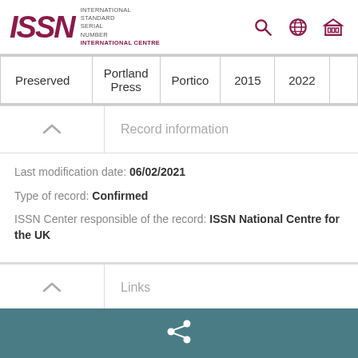[Figure (logo): ISSN International Centre logo with stylized letters and text]
| Preserved | Portland Press | Portico | 2015 | 2022 |  |
| --- | --- | --- | --- | --- | --- |
Record information
Last modification date: 06/02/2021
Type of record: Confirmed
ISSN Center responsible of the record: ISSN National Centre for the UK
Links